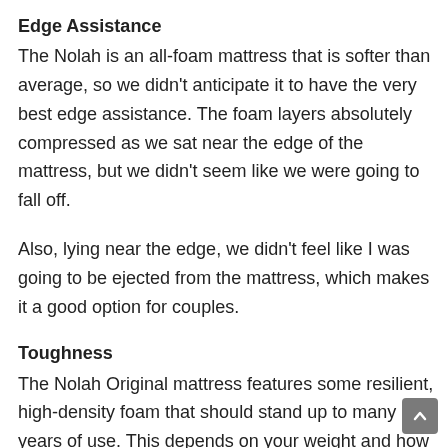Edge Assistance
The Nolah is an all-foam mattress that is softer than average, so we didn't anticipate it to have the very best edge assistance. The foam layers absolutely compressed as we sat near the edge of the mattress, but we didn't seem like we were going to fall off.
Also, lying near the edge, we didn't feel like I was going to be ejected from the mattress, which makes it a good option for couples.
Toughness
The Nolah Original mattress features some resilient, high-density foam that should stand up to many years of use. This depends on your weight and how frequently you utilize the mattress, however we see the Nolah Original lasting for